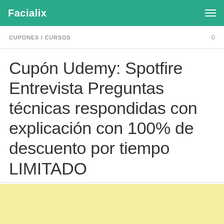Facialix
CUPONES / CURSOS
Cupón Udemy: Spotfire Entrevista Preguntas técnicas respondidas con explicación con 100% de descuento por tiempo LIMITADO
POR FACIALIX · 23 FEBRERO, 2022